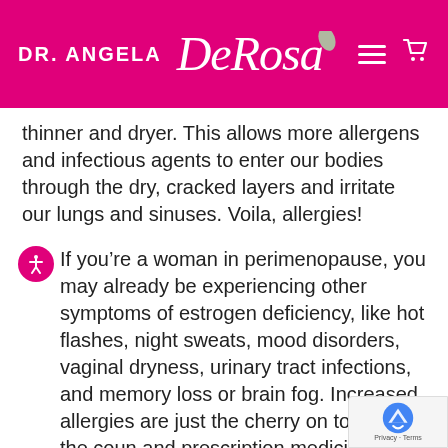[Figure (logo): Dr. Angela DeRosa logo on pink/magenta background with hamburger menu and cart icons]
thinner and dryer. This allows more allergens and infectious agents to enter our bodies through the dry, cracked layers and irritate our lungs and sinuses. Voila, allergies!
If you’re a woman in perimenopause, you may already be experiencing other symptoms of estrogen deficiency, like hot flashes, night sweats, mood disorders, vaginal dryness, urinary tract infections, and memory loss or brain fog. Increased allergies are just the cherry on top. Over the coun and prescription medicines that contain